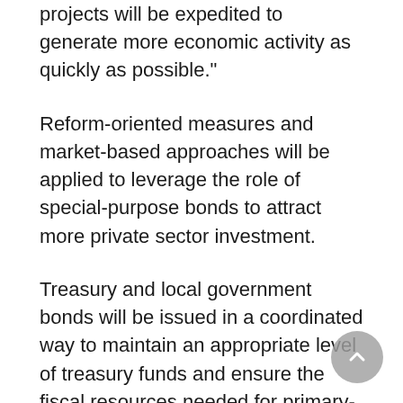projects will be expedited to generate more economic activity as quickly as possible."
Reform-oriented measures and market-based approaches will be applied to leverage the role of special-purpose bonds to attract more private sector investment.
Treasury and local government bonds will be issued in a coordinated way to maintain an appropriate level of treasury funds and ensure the fiscal resources needed for primary-level governments to provide tax refunds, tax and fee cuts and improve people's livelihood.
"Fund management should be strengthened to forestall debt risks and prevent the idleness of funds. The construction of new government buildings in violation of regulations must be strictly prohibited and no vanity projects will be tolerated," Li said.